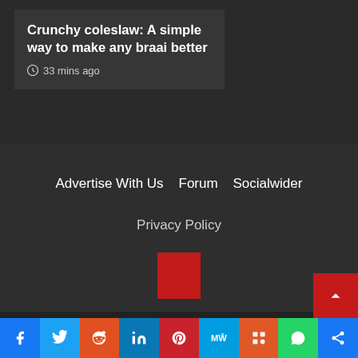Crunchy coleslaw: A simple way to make any braai better
33 mins ago
Advertise With Us   Forum   Socialwider
Privacy Policy
[Figure (logo): Red square logo/brand mark]
Copyright © All rights reserved. | CoverNews by AF themes.
[Figure (infographic): Social media share buttons bar: Facebook, Twitter, Reddit, LinkedIn, Pinterest, MeWe, Mix, WhatsApp, Share]